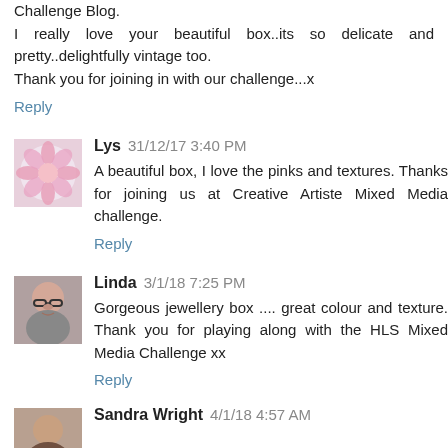I really love your beautiful box..its so delicate and pretty..delightfully vintage too.
Thank you for joining in with our challenge...x
Reply
Lys 31/12/17 3:40 PM
A beautiful box, I love the pinks and textures. Thanks for joining us at Creative Artiste Mixed Media challenge.
Reply
Linda 3/1/18 7:25 PM
Gorgeous jewellery box .... great colour and texture. Thank you for playing along with the HLS Mixed Media Challenge xx
Reply
Sandra Wright 4/1/18 4:57 AM